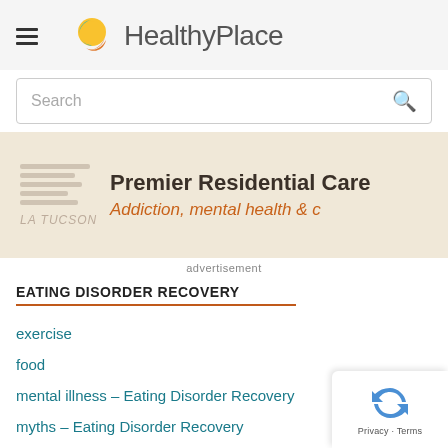[Figure (logo): HealthyPlace logo with sun/leaf icon and site name text]
Search
[Figure (infographic): Advertisement banner for Premier Residential Care - Addiction, mental health & c... with La Tucson branding on beige background]
advertisement
EATING DISORDER RECOVERY
exercise
food
mental illness – Eating Disorder Recovery
myths – Eating Disorder Recovery
networking